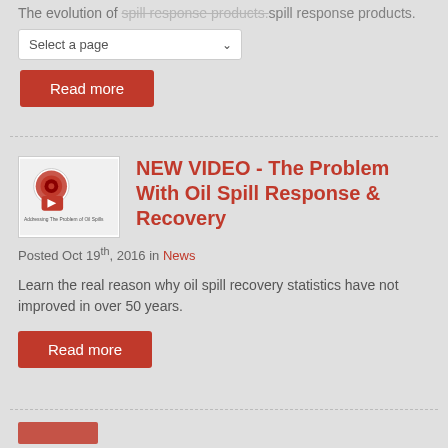The evolution of spill response products.
Select a page
Read more
NEW VIDEO - The Problem With Oil Spill Response & Recovery
[Figure (screenshot): Video thumbnail showing a YouTube play button and text 'Addressing The Problem of Oil Spills']
Posted Oct 19th, 2016 in News
Learn the real reason why oil spill recovery statistics have not improved in over 50 years.
Read more